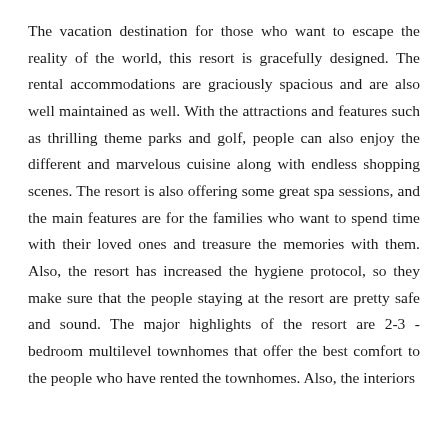The vacation destination for those who want to escape the reality of the world, this resort is gracefully designed. The rental accommodations are graciously spacious and are also well maintained as well. With the attractions and features such as thrilling theme parks and golf, people can also enjoy the different and marvelous cuisine along with endless shopping scenes. The resort is also offering some great spa sessions, and the main features are for the families who want to spend time with their loved ones and treasure the memories with them. Also, the resort has increased the hygiene protocol, so they make sure that the people staying at the resort are pretty safe and sound. The major highlights of the resort are 2-3 - bedroom multilevel townhomes that offer the best comfort to the people who have rented the townhomes. Also, the interiors